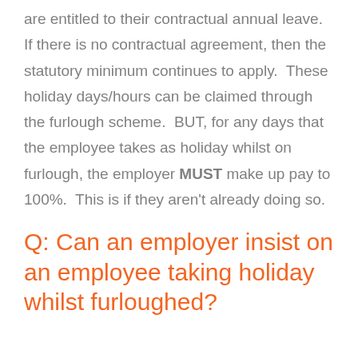are entitled to their contractual annual leave.  If there is no contractual agreement, then the statutory minimum continues to apply.  These holiday days/hours can be claimed through the furlough scheme.  BUT, for any days that the employee takes as holiday whilst on furlough, the employer MUST make up pay to 100%.  This is if they aren't already doing so.
Q: Can an employer insist on an employee taking holiday whilst furloughed?